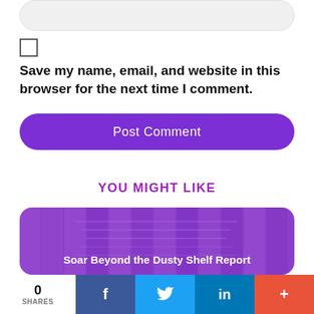[Figure (screenshot): Input text field with rounded corners and light gray background]
[Figure (screenshot): Unchecked checkbox]
Save my name, email, and website in this browser for the next time I comment.
[Figure (screenshot): Purple rounded 'Post Comment' button]
YOU MIGHT LIKE
[Figure (screenshot): Purple card with text 'Soar Beyond the Dusty Shelf Report']
[Figure (screenshot): Social share bar with 0 SHARES, Facebook, Twitter, LinkedIn, and more buttons]